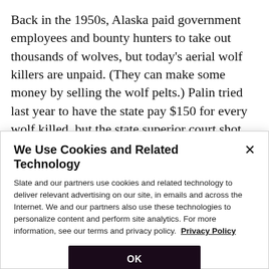Back in the 1950s, Alaska paid government employees and bounty hunters to take out thousands of wolves, but today's aerial wolf killers are unpaid. (They can make some money by selling the wolf pelts.) Palin tried last year to have the state pay $150 for every wolf killed, but the state superior court shot that down as an illegal use of bounty payments, which were outlawed in that state in 1984.
We Use Cookies and Related Technology
Slate and our partners use cookies and related technology to deliver relevant advertising on our site, in emails and across the Internet. We and our partners also use these technologies to personalize content and perform site analytics. For more information, see our terms and privacy policy. Privacy Policy